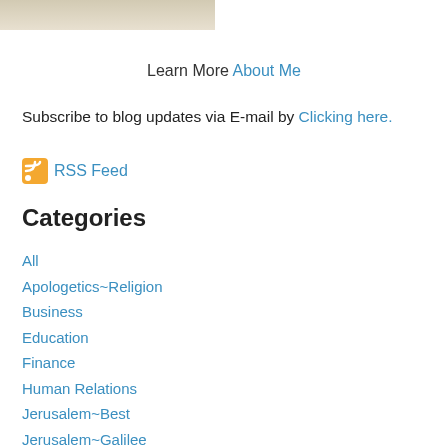[Figure (photo): Partial photo of a person wearing white clothing, cropped at top of page]
Learn More About Me
Subscribe to blog updates via E-mail by Clicking here.
RSS Feed
Categories
All
Apologetics~Religion
Business
Education
Finance
Human Relations
Jerusalem~Best
Jerusalem~Galilee
Jerusalem~Good
Jerusalem~Great
Jerusalem~Lessons
Kendel's Thoughts On Life
Life Events~Huge
Life Events~Medium